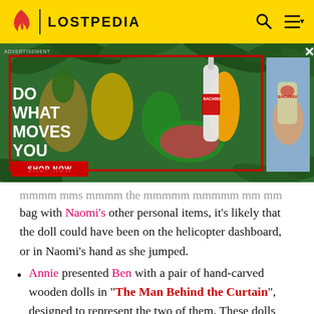LOSTPEDIA
[Figure (screenshot): Bacardi advertisement with tropical fruit background, 'DO WHAT MOVES YOU' text, SHOP NOW button, and a secondary image of a hand holding a Bacardi bottle]
bag with Naomi's other personal items, it's likely that the doll could have been on the helicopter dashboard, or in Naomi's hand as she jumped.
Annie presented Ben with a pair of hand-carved wooden dolls in "The Man Behind the Curtain", designed to represent the two of them. These dolls were a birthday gift, and Ben continued to cherish the "Annie" doll throughout his adulthood. The